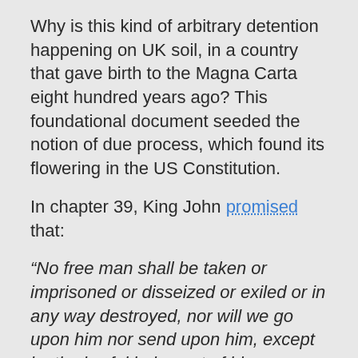Why is this kind of arbitrary detention happening on UK soil, in a country that gave birth to the Magna Carta eight hundred years ago? This foundational document seeded the notion of due process, which found its flowering in the US Constitution.
In chapter 39, King John promised that:
“No free man shall be taken or imprisoned or disseized or exiled or in any way destroyed, nor will we go upon him nor send upon him, except by the lawful judgment of his peers or by the law of the land.”
Another British man, George Orwell reminded us of the promise of liberty. He once said, “If liberty means anything at all, it means the right to tell people what they do not want to hear.” Upholding this liberty and defending freedom of speech is exactly what WikiLeaks has done. They did this by publishing a secret